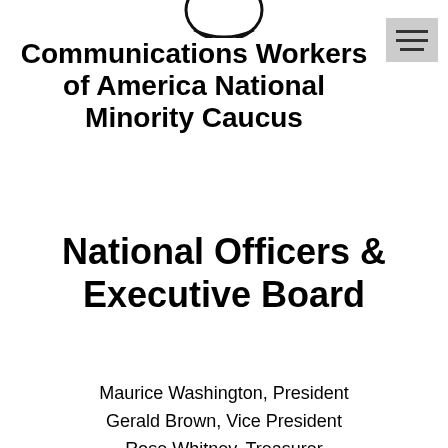[Figure (logo): Partial logo image at top center, cropped]
Communications Workers of America National Minority Caucus
National Officers & Executive Board
Maurice Washington, President
Gerald Brown, Vice President
Rose Whitney, Treasurer
Adriane Morgan-Weems, Assistant Treasurer